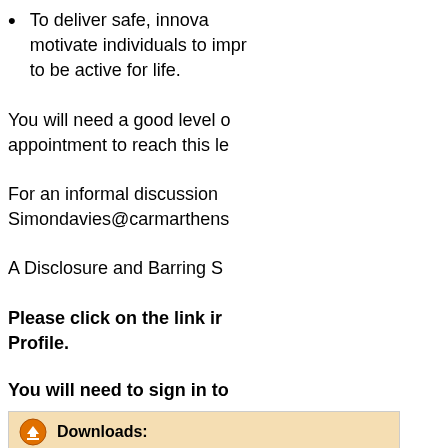To deliver safe, innovative motivate individuals to improve to be active for life.
You will need a good level of appointment to reach this le
For an informal discussion Simondavies@carmarthens
A Disclosure and Barring S
Please click on the link in Profile.
You will need to sign in to
[Figure (screenshot): Downloads box with orange download icon and label 'Downloads:', containing a file link '019971.p... (.pdf) (118kb)']
Apply   Add to Favourites